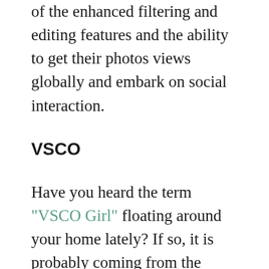of the enhanced filtering and editing features and the ability to get their photos views globally and embark on social interaction.
VSCO
Have you heard the term “VSCO Girl” floating around your home lately? If so, it is probably coming from the VSCO app. This is a place where kids, usually 13 and up, go to take or upload photos and edit them accordingly. They can then be shared on social media sites to gain exposure and interaction. In simple terms, it is much like Instagram, but VSCO is for people who enjoy photography